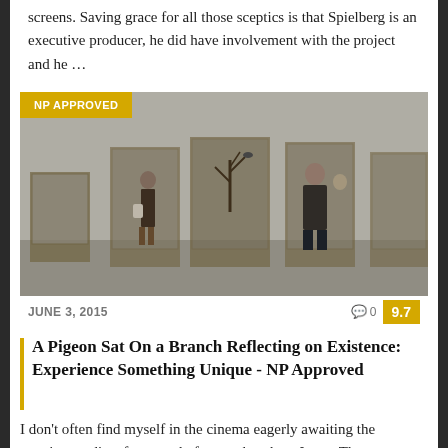screens. Saving grace for all those sceptics is that Spielberg is an executive producer, he did have involvement with the project and he …
[Figure (photo): Interior of a natural history museum gallery with display cases containing taxidermied birds and skeletons. Two figures stand among the cases; 'NP APPROVED' badge overlaid top-left in yellow.]
JUNE 3, 2015   💬 0   9.7
A Pigeon Sat On a Branch Reflecting on Existence: Experience Something Unique - NP Approved
I don't often find myself in the cinema eagerly awaiting the opening credits of a comedy feature, but there I was. There was an odd anticipation around this dark comedy